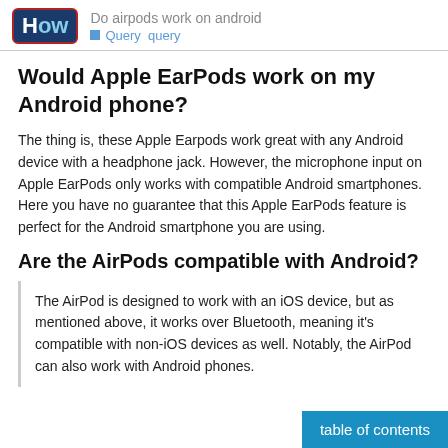Do airpods work on android | Query  query
Would Apple EarPods work on my Android phone?
The thing is, these Apple Earpods work great with any Android device with a headphone jack. However, the microphone input on Apple EarPods only works with compatible Android smartphones. Here you have no guarantee that this Apple EarPods feature is perfect for the Android smartphone you are using.
Are the AirPods compatible with Android?
The AirPod is designed to work with an iOS device, but as mentioned above, it works over Bluetooth, meaning it's compatible with non-iOS devices as well. Notably, the AirPod can also work with Android phones.